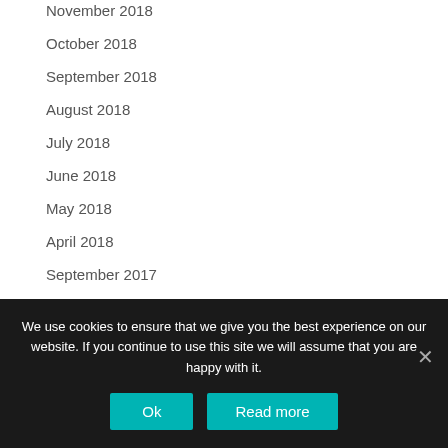November 2018
October 2018
September 2018
August 2018
July 2018
June 2018
May 2018
April 2018
September 2017
June 2017
We use cookies to ensure that we give you the best experience on our website. If you continue to use this site we will assume that you are happy with it.